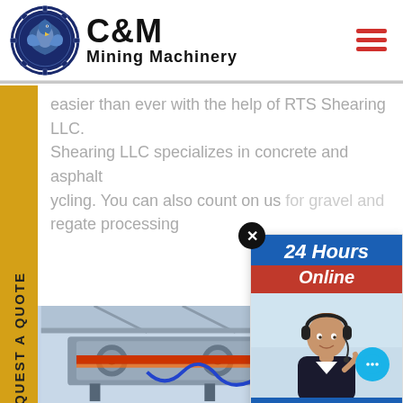[Figure (logo): C&M Mining Machinery logo — circular navy blue badge with eagle, and bold C&M Mining Machinery text]
easier than ever with the help of RTS Shearing LLC. Shearing LLC specializes in concrete and asphalt ycling. You can also count on us for gravel and regate processing
[Figure (photo): Industrial mining machinery in warehouse setting — roller/vibrating screen equipment with red and orange components]
[Figure (photo): 24 Hours Online chat popup with customer service representative wearing headset, Click to Chat button, and Enquiry section]